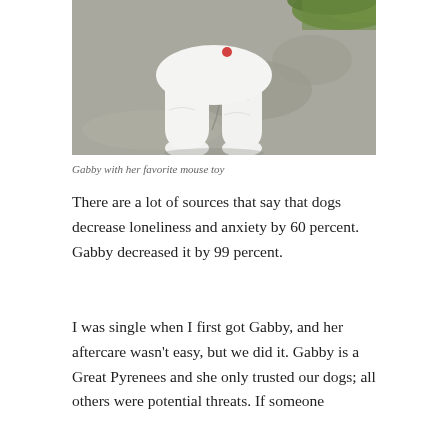[Figure (photo): Close-up photo of a white fluffy dog (Great Pyrenees) paws and lower body standing on asphalt pavement, with green grass visible in the top right corner and a small red toy visible.]
Gabby with her favorite mouse toy
There are a lot of sources that say that dogs decrease loneliness and anxiety by 60 percent. Gabby decreased it by 99 percent.
I was single when I first got Gabby, and her aftercare wasn't easy, but we did it. Gabby is a Great Pyrenees and she only trusted our dogs; all others were potential threats. If someone